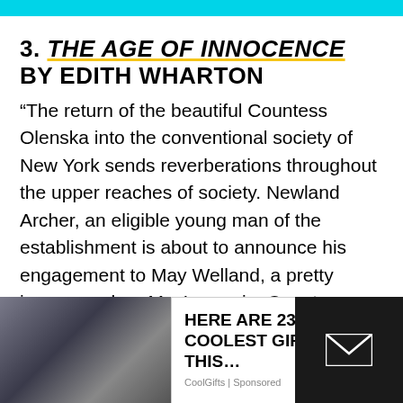3. THE AGE OF INNOCENCE BY EDITH WHARTON
“The return of the beautiful Countess Olenska into the conventional society of New York sends reverberations throughout the upper reaches of society. Newland Archer, an eligible young man of the establishment is about to announce his engagement to May Welland, a pretty ingenue, when May’s cousin, Countess Olenska, is introduced into their circle.”
[Figure (photo): Advertisement overlay at bottom of page showing a smart ring on a finger (left), a white ad panel with text 'HERE ARE 23 OF THE COOLEST GIFTS FOR THIS...' from CoolGifts (Sponsored) with a close X button, and a dark panel on the right with an email/envelope icon.]